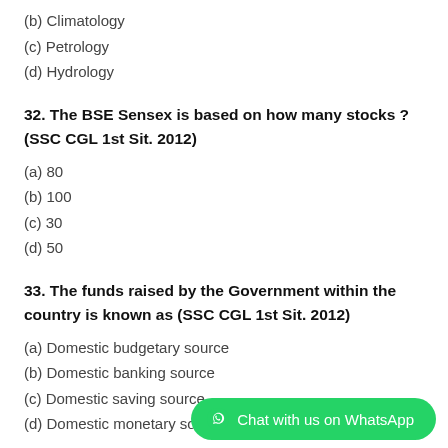(b) Climatology
(c) Petrology
(d) Hydrology
32. The BSE Sensex is based on how many stocks ? (SSC CGL 1st Sit. 2012)
(a) 80
(b) 100
(c) 30
(d) 50
33. The funds raised by the Government within the country is known as (SSC CGL 1st Sit. 2012)
(a) Domestic budgetary source
(b) Domestic banking source
(c) Domestic saving source
(d) Domestic monetary source